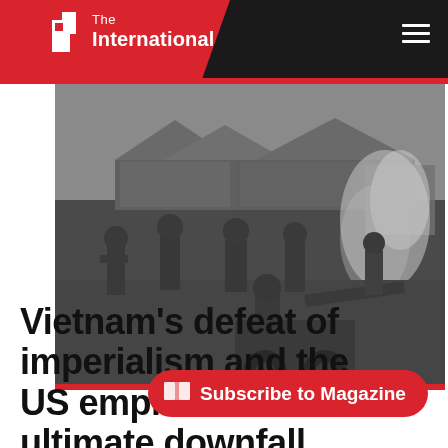The International
[Figure (photo): Black and white photograph of soldiers in military uniforms operating artillery equipment near tents, with smoke visible in the background. Vietnam War era military scene.]
Vietnam's defeat of imperialism and the US empire's ultimate downfall
Subscribe to Magazine